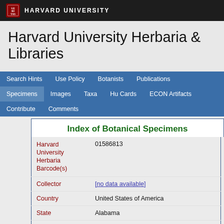HARVARD UNIVERSITY
Harvard University Herbaria & Libraries
Search Hints | Use Policy | Botanists | Publications | Specimens | Images | Taxa | Hu Cards | ECON Artifacts | Contribute | Comments
Index of Botanical Specimens
| Field | Value |
| --- | --- |
| Harvard University Herbaria Barcode(s) | 01586813 |
| Collector | [no data available] |
| Country | United States of America |
| State | Alabama |
| Geography | North America: North America (CA, US, MX) (Region): United States of America: Alabama: Jackson County |
| Locality | Mtn. side off main highway from Long Island. Bryant. |